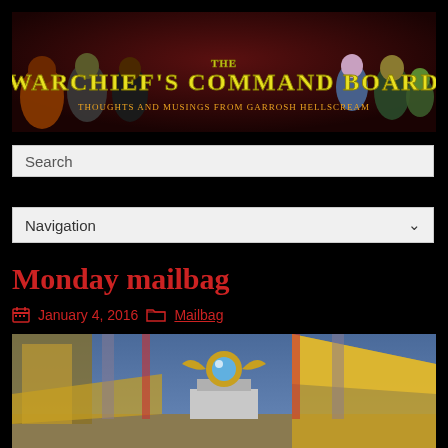[Figure (illustration): The Warchief's Command Board banner image showing World of Warcraft characters including orcs and goblins with golden text reading 'The Warchief's Command Board' and subtitle 'Thoughts and Musings from Garrosh Hellscream']
Search
Navigation
Monday mailbag
January 4, 2016
Mailbag
[Figure (screenshot): World of Warcraft in-game screenshot showing a fantasy throne room scene with gold decorations, a glowing blue crystal orb on a pedestal, and ornate architecture in blue and gold tones]